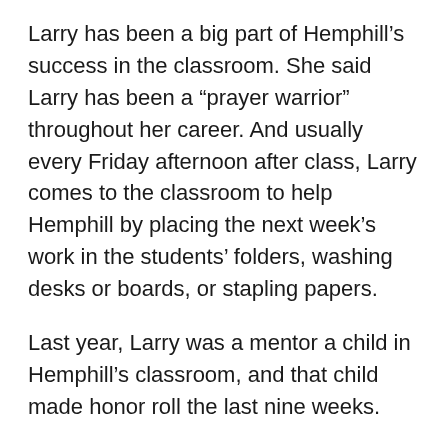Larry has been a big part of Hemphill’s success in the classroom. She said Larry has been a “prayer warrior” throughout her career. And usually every Friday afternoon after class, Larry comes to the classroom to help Hemphill by placing the next week’s work in the students’ folders, washing desks or boards, or stapling papers.
Last year, Larry was a mentor a child in Hemphill’s classroom, and that child made honor roll the last nine weeks.
“As you can see, education is truly a family affair,” Hemphill said. “I wasn’t surprised when my daughters chose education as a career. They had always ‘played school,’ so I know they must have enjoyed school. They also had inspiring teachers at Nanih Waiya who went